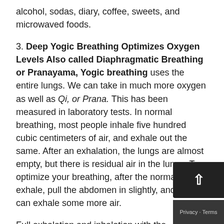alcohol, sodas, diary, coffee, sweets, and microwaved foods.
3. Deep Yogic Breathing Optimizes Oxygen Levels Also called Diaphragmatic Breathing or Pranayama, Yogic breathing uses the entire lungs. We can take in much more oxygen as well as Qi, or Prana. This has been measured in laboratory tests. In normal breathing, most people inhale five hundred cubic centimeters of air, and exhale out the same. After an exhalation, the lungs are almost empty, but there is residual air in the lungs. To optimize your breathing, after the normal exhale, pull the abdomen in slightly, and you can exhale some more air.
Full exhalation and inhalation with the diaphragm uses about sixteen hundred cubic centimeters. You will find that your lung capacity increase over time and may even double. With